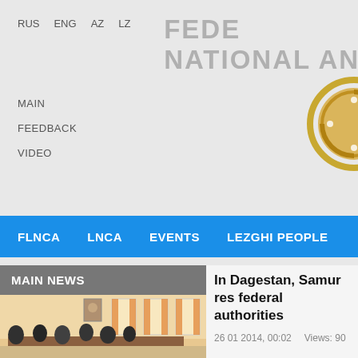RUS  ENG  AZ  LZ
FEDE NATIONAL AND
MAIN
FEEDBACK
VIDEO
[Figure (logo): Circular emblem/logo partially visible on right side]
FLNCA  LNCA  EVENTS  LEZGHI PEOPLE
MAIN NEWS
[Figure (photo): Group of people seated around a meeting table in a conference room, portrait on wall in background]
In Dagestan, Samur res federal authorities
26 01 2014, 00:02    Views: 90